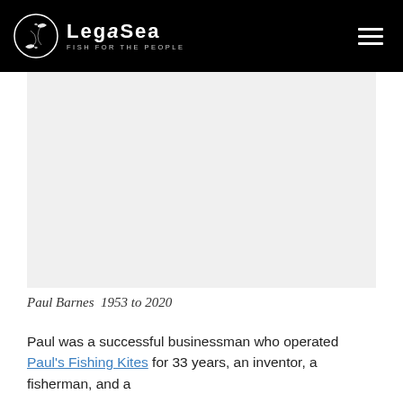LegaSea — Fish for the People
[Figure (photo): Large photo placeholder area showing Paul Barnes]
Paul Barnes  1953 to 2020
Paul was a successful businessman who operated Paul's Fishing Kites for 33 years, an inventor, a fisherman, and a